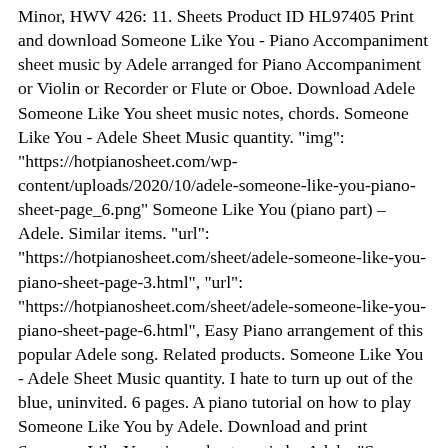Minor, HWV 426: 11. Sheets Product ID HL97405 Print and download Someone Like You - Piano Accompaniment sheet music by Adele arranged for Piano Accompaniment or Violin or Recorder or Flute or Oboe. Download Adele Someone Like You sheet music notes, chords. Someone Like You - Adele Sheet Music quantity. "img": "https://hotpianosheet.com/wp-content/uploads/2020/10/adele-someone-like-you-piano-sheet-page_6.png" Someone Like You (piano part) – Adele. Similar items. "url": "https://hotpianosheet.com/sheet/adele-someone-like-you-piano-sheet-page-3.html", "url": "https://hotpianosheet.com/sheet/adele-someone-like-you-piano-sheet-page-6.html", Easy Piano arrangement of this popular Adele song. Related products. Someone Like You - Adele Sheet Music quantity. I hate to turn up out of the blue, uninvited. 6 pages. A piano tutorial on how to play Someone Like You by Adele. Download and print Someone Like You piano sheet music by Adele. "Someone like You" is a soul song by pop artist / singer Adele, featured on her second album, titled "21". In original key, with section headings. Download or print Adele Someone Like You sheet music notes, chords in minutes. ... $17.99 - See more - Buy online Pre-shipment lead time: 2 to 3 weeks. Rumour Has It/Someone Like You Choral [Accompaniment CD] Hal Leonard ((Choral Mash-up from Glee)). You can either print the sheet music from our website, or from Playground's Mac and PC applications. Piano Solo What A Wonderful World: Louis Armstrong: Accompaniment Piano Arr. Freeman Skidmore Piano